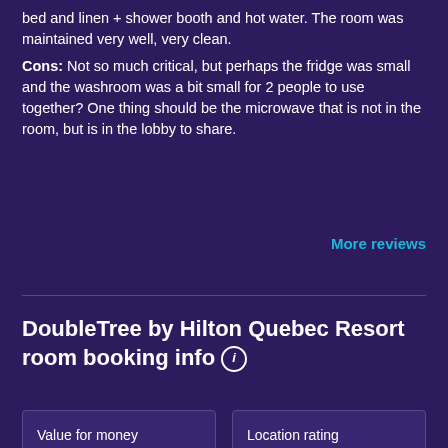bed and linen + shower booth and hot water. The room was maintained very well, very clean.
Cons: Not so much critical, but perhaps the fridge was small and the washroom was a bit small for 2 people to use together? One thing should be the microwave that is not in the room, but is in the lobby to share.
More reviews
DoubleTree by Hilton Quebec Resort room booking info
| Value for money | Location rating |
| --- | --- |